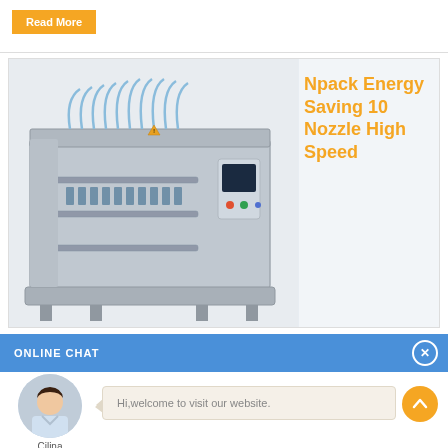Read More
[Figure (photo): Industrial filling machine - Npack Energy Saving 10 Nozzle High Speed stainless steel bottling/filling machine with multiple nozzles and control panel]
Npack Energy Saving 10 Nozzle High Speed
ONLINE CHAT
[Figure (photo): Chat avatar of a female customer service representative named Cilina]
Cilina
Hi,welcome to visit our website.